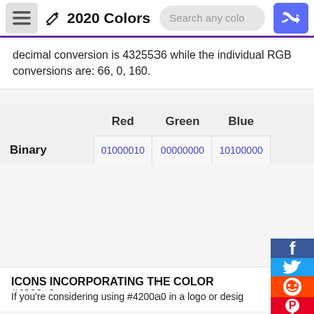2020 Colors
decimal conversion is 4325536 while the individual RGB conversions are: 66, 0, 160.
|  | Red | Green | Blue |
| --- | --- | --- | --- |
| Binary | 01000010 | 00000000 | 10100000 |
| Hex | 42 | 00 | a0 |
| Octal | 102 | 0 | 240 |
| Decimal | 66 | 0 | 160 |
ICONS INCORPORATING THE COLOR #4200a0
If you're considering using #4200a0 in a logo or design